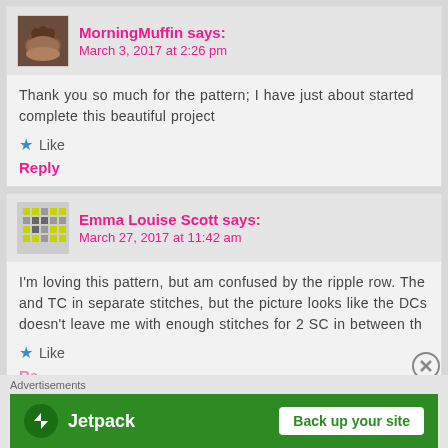MorningMuffin says:
March 3, 2017 at 2:26 pm
Thank you so much for the pattern; I have just about started complete this beautiful project
Like
Reply
Emma Louise Scott says:
March 27, 2017 at 11:42 am
I'm loving this pattern, but am confused by the ripple row. The and TC in separate stitches, but the picture looks like the DCs doesn't leave me with enough stitches for 2 SC in between th
Like
Advertisements
[Figure (other): Jetpack advertisement banner with logo and 'Back up your site' button]